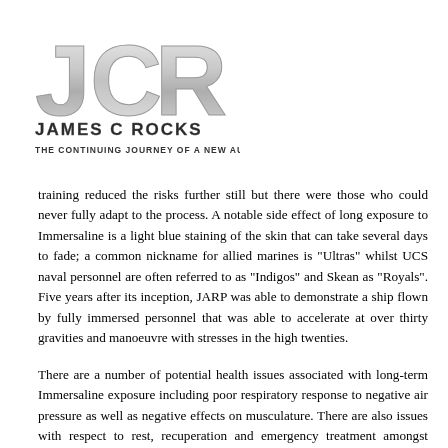[Figure (logo): James C Rocks logo — stylized metallic 3D letters 'JCR' above text 'JAMES C ROCKS' and subtitle 'THE CONTINUING JOURNEY OF A NEW AUTHOR']
training reduced the risks further still but there were those who could never fully adapt to the process. A notable side effect of long exposure to Immersaline is a light blue staining of the skin that can take several days to fade; a common nickname for allied marines is "Ultras" whilst UCS naval personnel are often referred to as "Indigos" and Skean as "Royals". Five years after its inception, JARP was able to demonstrate a ship flown by fully immersed personnel that was able to accelerate at over thirty gravities and manoeuvre with stresses in the high twenties.
There are a number of potential health issues associated with long-term Immersaline exposure including poor respiratory response to negative air pressure as well as negative effects on musculature. There are also issues with respect to rest, recuperation and emergency treatment amongst others but, with highly automated ships largely managed by sophisticated computer control systems, around half a ships complement are regarded as non-essential during battles. For these reasons along with cost and